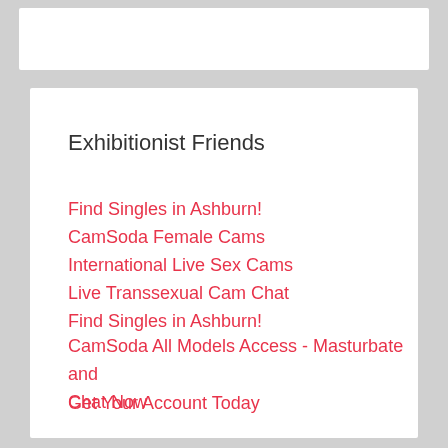Exhibitionist Friends
Find Singles in Ashburn!
CamSoda Female Cams
International Live Sex Cams
Live Transsexual Cam Chat
Find Singles in Ashburn!
CamSoda All Models Access - Masturbate and Chat Now
Get Your Account Today
Milf Sex Cams
Couples, Threesomes And Groups
Our Top Online Model
Couples Chat And Masturbate